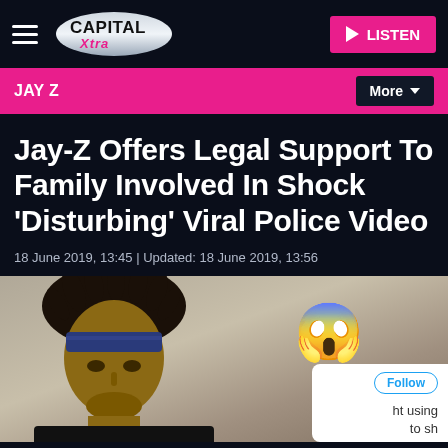Capital Xtra — LISTEN
JAY Z
Jay-Z Offers Legal Support To Family Involved In Shock 'Disturbing' Viral Police Video
18 June 2019, 13:45 | Updated: 18 June 2019, 13:56
[Figure (photo): Photo of Jay-Z wearing a blue bandana and dreadlocks, with a shocked face emoji overlay and a partial Twitter card showing 'Follow' button and partial tweet text 'ht using to sh']